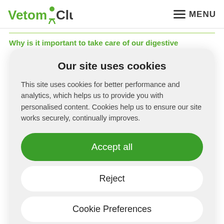VetomClub  MENU
Why is it important to take care of our digestive
Our site uses cookies
This site uses cookies for better performance and analytics, which helps us to provide you with personalised content. Cookies help us to ensure our site works securely, continually improves.
Accept all
Reject
Cookie Preferences
Cookie Policy   Zpracování a ochrana osobních údajů